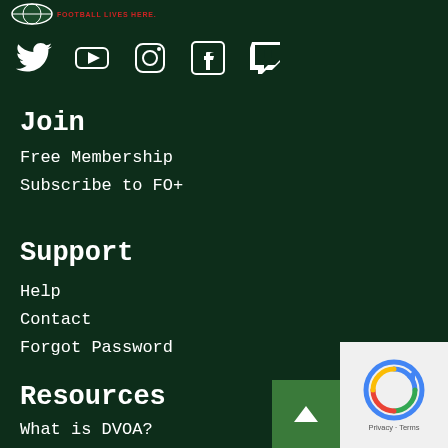[Figure (logo): Football Outsiders logo with football icon and red tagline FOOTBALL LIVES HERE.]
[Figure (infographic): Row of social media icons: Twitter, YouTube, Instagram, Facebook, Twitch]
Join
Free Membership
Subscribe to FO+
Support
Help
Contact
Forgot Password
Resources
What is DVOA?